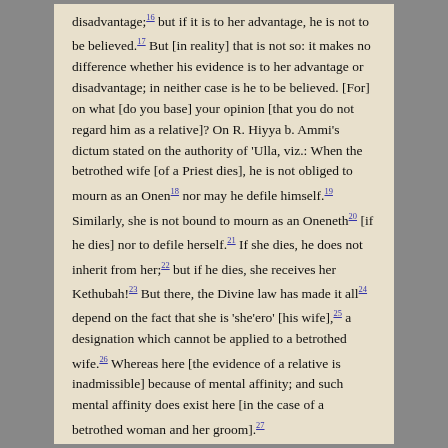disadvantage; but if it is to her advantage, he is not to be believed.17 But [in reality] that is not so: it makes no difference whether his evidence is to her advantage or disadvantage; in neither case is he to be believed. [For] on what [do you base] your opinion [that you do not regard him as a relative]? On R. Hiyya b. Ammi's dictum stated on the authority of 'Ulla, viz.: When the betrothed wife [of a Priest dies], he is not obliged to mourn as an Onen18 nor may he defile himself.19 Similarly, she is not bound to mourn as an Oneneth20 [if he dies] nor to defile herself.21 If she dies, he does not inherit from her;22 but if he dies, she receives her Kethubah!23 But there, the Divine law has made it all24 depend on the fact that she is 'she'ero' [his wife],25 a designation which cannot be applied to a betrothed wife.26 Whereas here [the evidence of a relative is inadmissible] because of mental affinity; and such mental affinity does exist here [in the case of a betrothed woman and her groom].27
ONE'S STEP-SON HIMSELF. Our Rabbis